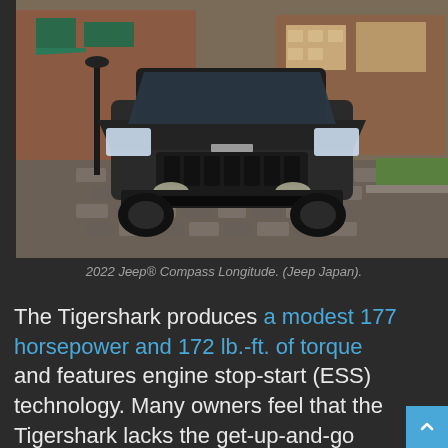[Figure (photo): Front view of a dark gray 2022 Jeep Compass Longitude on a cobblestone street with brick buildings in the background.]
2022 Jeep® Compass Longitude. (Jeep Japan).
The Tigershark produces a modest 177 horsepower and 172 lb.-ft. of torque and features engine stop-start (ESS) technology. Many owners feel that the Tigershark lacks the get-up-and-go performance other four-cylinders in the compact SUV segment have. So for certain markets, Jeep has replaced the Tigershark with the turbocharged GSE-T4 from the Renegade.